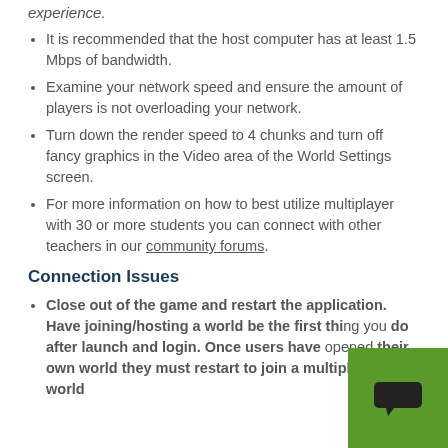experience.
It is recommended that the host computer has at least 1.5 Mbps of bandwidth.
Examine your network speed and ensure the amount of players is not overloading your network.
Turn down the render speed to 4 chunks and turn off fancy graphics in the Video area of the World Settings screen.
For more information on how to best utilize multiplayer with 30 or more students you can connect with other teachers in our community forums.
Connection Issues
Close out of the game and restart the application. Have joining/hosting a world be the first thing you do after launch and login. Once users have opened their own world they must restart to join a multiplayer world